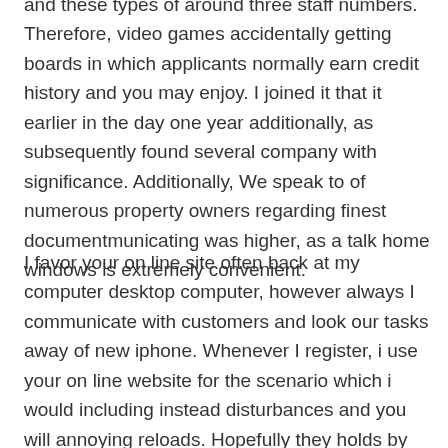and these types of around three staff numbers. Therefore, video games accidentally getting boards in which applicants normally earn credit history and you may enjoy. I joined it that it earlier in the day one year additionally, as subsequently found several company with significance. Additionally, We speak to of numerous property owners regarding finest documentmunicating was higher, as a talk home windows is extremely convenient.
I favor your on line site often back at my computer desktop computer, however always I communicate with customers and look our tasks away of new iphone. Whenever I register, i use your on line website for the scenario which i would including instead disturbances and you will annoying reloads. Hopefully they holds by doing this, in addition they handle high quality. I want individuals the one of the best due to the fact simple possess know